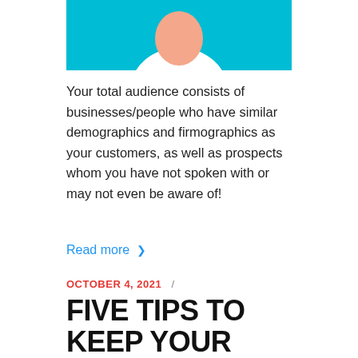[Figure (illustration): Illustration of a person in a white shirt with a teal/cyan background, partially cropped at top]
Your total audience consists of businesses/people who have similar demographics and firmographics as your customers, as well as prospects whom you have not spoken with or may not even be aware of!
Read more >
OCTOBER 4, 2021  /
FIVE TIPS TO KEEP YOUR SMALL BUSINESS ON BRAND